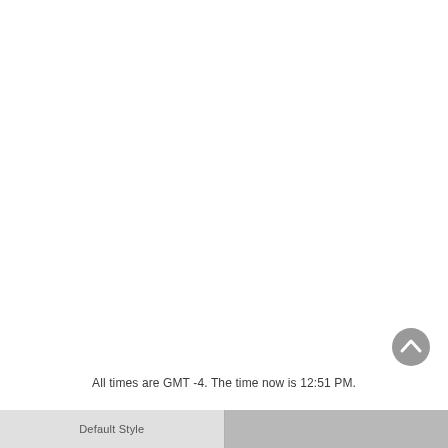All times are GMT -4. The time now is 12:51 PM.
Default Style